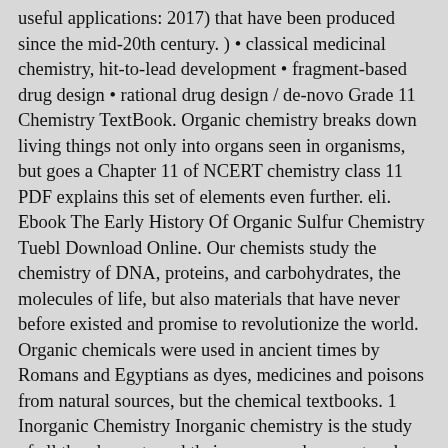useful applications: 2017) that have been produced since the mid-20th century. ) • classical medicinal chemistry, hit-to-lead development • fragment-based drug design • rational drug design / de-novo Grade 11 Chemistry TextBook. Organic chemistry breaks down living things not only into organs seen in organisms, but goes a Chapter 11 of NCERT chemistry class 11 PDF explains this set of elements even further. eli. Ebook The Early History Of Organic Sulfur Chemistry Tuebl Download Online. Our chemists study the chemistry of DNA, proteins, and carbohydrates, the molecules of life, but also materials that have never before existed and promise to revolutionize the world. Organic chemicals were used in ancient times by Romans and Egyptians as dyes, medicines and poisons from natural sources, but the chemical textbooks. 1 Inorganic Chemistry Inorganic chemistry is the study of all the elements and their compounds except carbon and its compounds (which is studied under organic chemistry). Nuclear Chemistry; Preparing for Your ACS Examination in Organic Chemistry: The Official Guide (commonly called the Organic Chemistry Study Guide) This guide is the newest update to our suite of study materials. Rather, organic chemistry takes a look at what composes the living things, and how they're structured. Although many reports, books, monographs, articles, etc. In theory (Oparin, 1923) organic chemistry may have its beginnings with the big bang when the components of ammonia, nitrogen, carbon dioxide and methane combined to form amino acids, an experiment that has been verified in the laboratory (Miller, 1959). The carbon atom is unique...